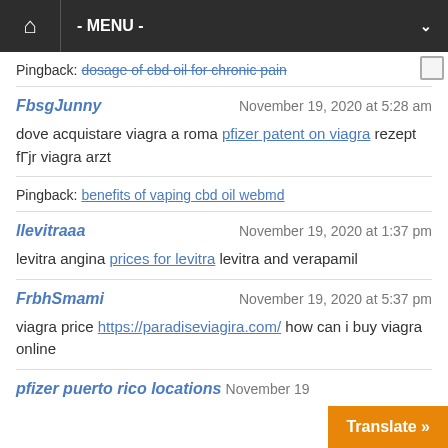Home | - MENU -
Pingback: dosage of cbd oil for chronic pain
FbsgJunny — November 19, 2020 at 5:28 am
dove acquistare viagra a roma pfizer patent on viagra rezept fГjr viagra arzt
Pingback: benefits of vaping cbd oil webmd
llevitraaa — November 19, 2020 at 1:37 pm
levitra angina prices for levitra levitra and verapamil
FrbhSmami — November 19, 2020 at 5:37 pm
viagra price https://paradiseviagira.com/ how can i buy viagra online
pfizer puerto rico locations November 19